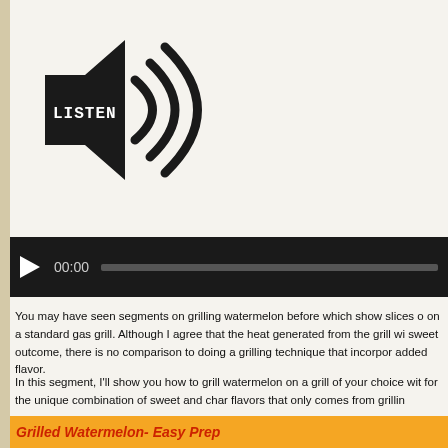[Figure (illustration): A speaker icon with sound waves and the word LISTEN on it, suggesting an audio listening element.]
[Figure (screenshot): An audio player bar with a play button, timestamp showing 00:00, and a progress bar on dark background.]
You may have seen segments on grilling watermelon before which show slices on a standard gas grill. Although I agree that the heat generated from the grill will sweet outcome, there is no comparison to doing a grilling technique that incorpo added flavor.
In this segment, I'll show you how to grill watermelon on a grill of your choice wit for the unique combination of sweet and char flavors that only comes from grillin
Grilled Watermelon- Easy Prep
I think this is by far the easiest preparation for the grill. All you need is a waterm